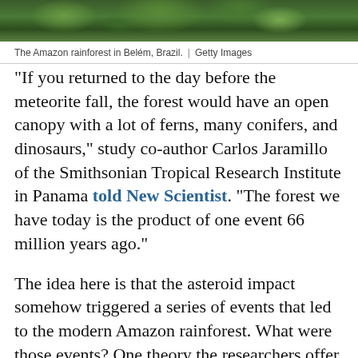[Figure (photo): Aerial or ground-level view of the Amazon rainforest lush green canopy in Belém, Brazil]
The Amazon rainforest in Belém, Brazil.  |  Getty Images
“If you returned to the day before the meteorite fall, the forest would have an open canopy with a lot of ferns, many conifers, and dinosaurs,” study co-author Carlos Jaramillo of the Smithsonian Tropical Research Institute in Panama told New Scientist. “The forest we have today is the product of one event 66 million years ago.”
The idea here is that the asteroid impact somehow triggered a series of events that led to the modern Amazon rainforest. What were those events? One theory the researchers offer is that, before the asteroid, herbivorous dinosaurs prevented the forest from becoming dense by eating and trampling